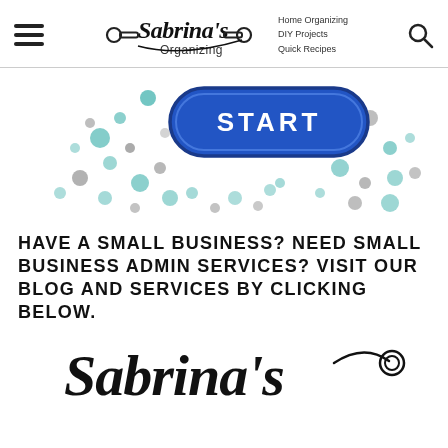Sabrina's Organizing | Home Organizing | DIY Projects | Quick Recipes
[Figure (infographic): Decorative banner with teal and gray polka dots and a blue rounded rectangle button labeled START in the center]
HAVE A SMALL BUSINESS? NEED SMALL BUSINESS ADMIN SERVICES? VISIT OUR BLOG AND SERVICES BY CLICKING BELOW.
[Figure (logo): Sabrina's Admin Organizing logo in black cursive script with decorative swirl]